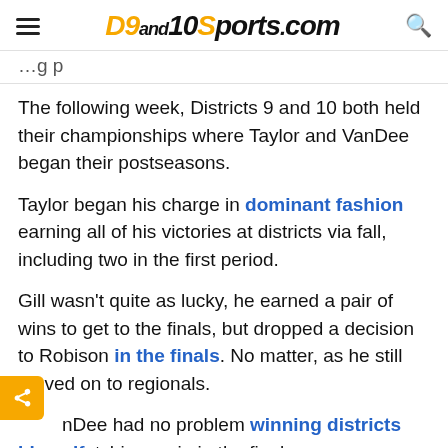D9and10Sports.com
beginning...
The following week, Districts 9 and 10 both held their championships where Taylor and VanDee began their postseasons.
Taylor began his charge in dominant fashion earning all of his victories at districts via fall, including two in the first period.
Gill wasn't quite as lucky, he earned a pair of wins to get to the finals, but dropped a decision to Robison in the finals. No matter, as he still moved on to regionals.
VanDee had no problem winning districts himself, notching a pin in the finals.